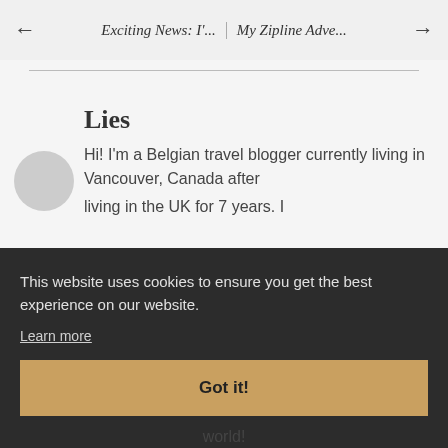← Exciting News: I'...  |  My Zipline Adve... →
Lies
Hi! I'm a Belgian travel blogger currently living in Vancouver, Canada after living in the UK for 7 years. I
This website uses cookies to ensure you get the best experience on our website.
Learn more
Got it!
world!